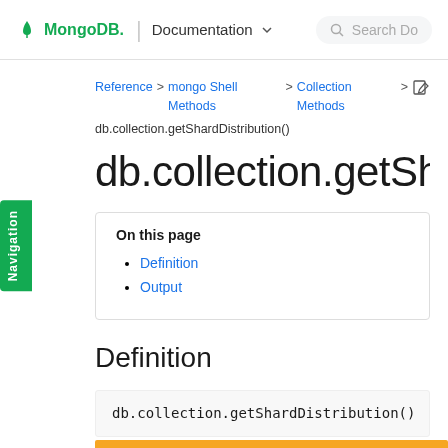MongoDB. | Documentation
Reference > mongo Shell Methods > Collection Methods > db.collection.getShardDistribution()
db.collection.getShardDistribution()
On this page
Definition
Output
Definition
db.collection.getShardDistribution()